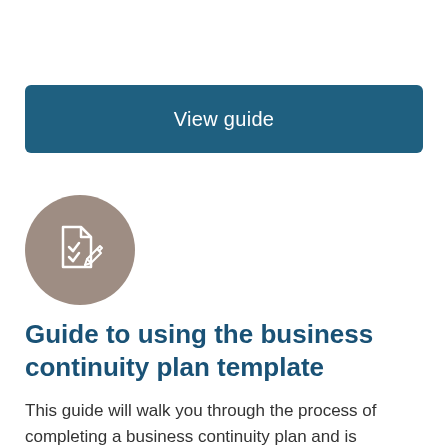[Figure (other): Blue rectangular button with white text reading 'View guide']
[Figure (illustration): Gray circle icon with a document/checklist and pen illustration in white]
Guide to using the business continuity plan template
This guide will walk you through the process of completing a business continuity plan and is designed to be used alongside our business continuity